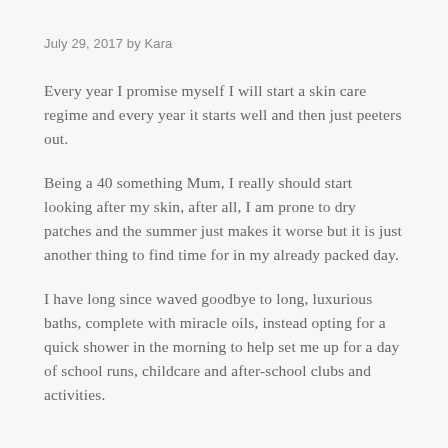July 29, 2017 by Kara
Every year I promise myself I will start a skin care regime and every year it starts well and then just peeters out.
Being a 40 something Mum, I really should start looking after my skin, after all, I am prone to dry patches and the summer just makes it worse but it is just another thing to find time for in my already packed day.
I have long since waved goodbye to long, luxurious baths, complete with miracle oils, instead opting for a quick shower in the morning to help set me up for a day of school runs, childcare and after-school clubs and activities.